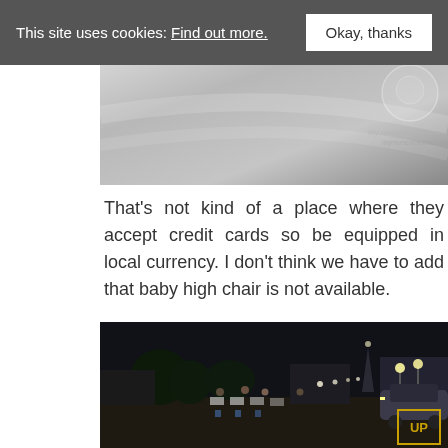This site uses cookies: Find out more.  [Okay, thanks]
[Figure (photo): Partial top image with silver/gray gradient background and a circular logo watermark in the top right corner reading 'My moment of Oman']
That's not kind of a place where they accept credit cards so be equipped in local currency. I don't think we have to add that baby high chair is not available.
[Figure (photo): Night scene of an outdoor dining area with people sitting at white tables on sandy ground, trees in background, Burj Al Arab visible in the distance with lights, an SUV parked on the right, and an 'UP' badge overlay in the bottom right corner]